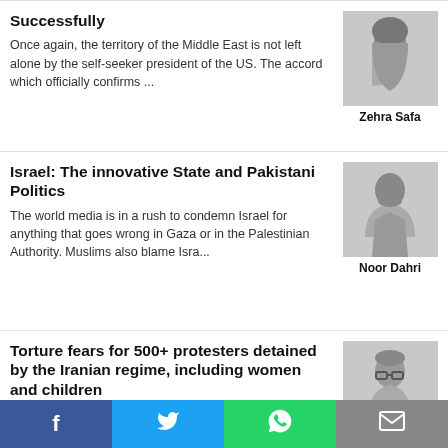Successfully
Once again, the territory of the Middle East is not left alone by the self-seeker president of the US. The accord which officially confirms ...
[Figure (photo): Black and white photo of Zehra Safa, a woman wearing a hijab]
Zehra Safa
Israel: The innovative State and Pakistani Politics
The world media is in a rush to condemn Israel for anything that goes wrong in Gaza or in the Palestinian Authority. Muslims also blame Isra...
[Figure (photo): Black and white photo of Noor Dahri, a man in a suit]
Noor Dahri
Torture fears for 500+ protesters detained by the Iranian regime, including women and children
Concerns are growing for the well-being of two of the Ahwazi Arab women who were detained along with hundreds of other protesters by the Ira...
[Figure (photo): Black and white photo of Rahim Hamid, a man with glasses]
Rahim Hamid
Social share bar: Facebook, Twitter, WhatsApp, Email